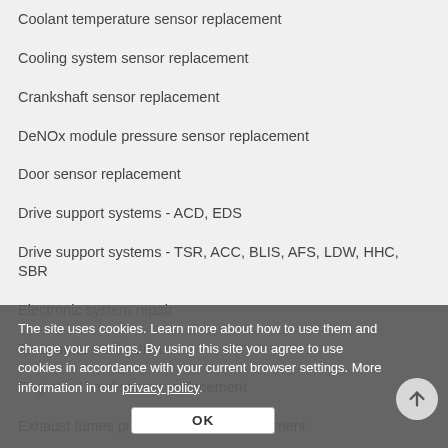Coolant temperature sensor replacement
Cooling system sensor replacement
Crankshaft sensor replacement
DeNOx module pressure sensor replacement
Door sensor replacement
Drive support systems - ACD, EDS
Drive support systems - TSR, ACC, BLIS, AFS, LDW, HHC, SBR
Electronic system repair
Electronics verification
Engine oil level sensor replacement
Exhaust fumes pressure sensor replacement
Exhaust fumes temperature sensor replacement
External temperature sensor replacement
Fuel injection system sensor and transmitter replacement
Fuel pressure sensor replacement
The site uses cookies. Learn more about how to use them and change your settings. By using this site you agree to use cookies in accordance with your current browser settings. More information in our privacy policy.